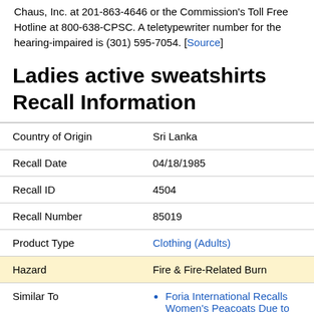Chaus, Inc. at 201-863-4646 or the Commission's Toll Free Hotline at 800-638-CPSC. A teletypewriter number for the hearing-impaired is (301) 595-7054. [Source]
Ladies active sweatshirts Recall Information
| Field | Value |
| --- | --- |
| Country of Origin | Sri Lanka |
| Recall Date | 04/18/1985 |
| Recall ID | 4504 |
| Recall Number | 85019 |
| Product Type | Clothing (Adults) |
| Hazard | Fire & Fire-Related Burn |
| Similar To | Foria International Recalls Women's Peacoats Due to Violation of Federal... |